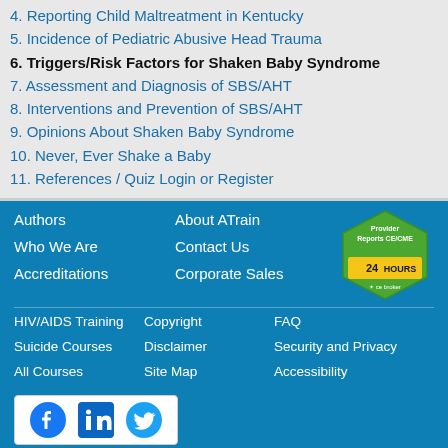4. Reporting Child Maltreatment in Kentucky
5. Incidence of Pediatric Abusive Head Trauma
6. Triggers/Risk Factors for Shaken Baby Syndrome
7. Assessment and Diagnosis of SBS/AHT
8. Interventions and Prevention of SBS/AHT
9. Opinions About Shaken Baby Syndrome
10. Never, Ever Shake a Baby
11. References / Quiz Login or Register
Authors | Who We Are | Accreditations | About ATrain | Contact Us | Corporate Sales | HIV/AIDS Training | Suicide Courses | All Courses | Copyright | Disclaimer | Site Map | FAQ | Security and Privacy | Accessibility